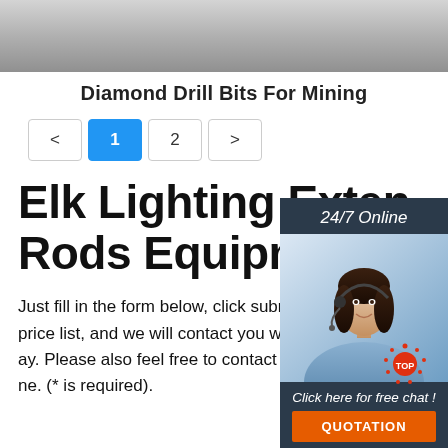[Figure (photo): Gray textured surface photo strip at top of page]
Diamond Drill Bits For Mining
[Figure (other): Pagination navigation with buttons: <, 1 (active/blue), 2, >]
Elk Lighting Extension Rods Equipment
[Figure (photo): Chat widget with '24/7 Online' header, photo of woman with headset, 'Click here for free chat!' text, and QUOTATION button]
Just fill in the form below, click submit, you will get the price list, and we will contact you within one working day. Please also feel free to contact us via email or phone. (* is required).